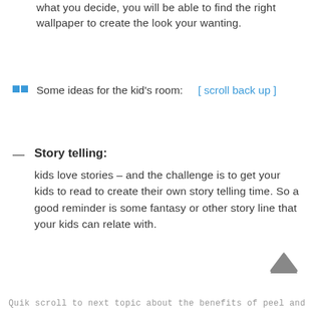what you decide, you will be able to find the right wallpaper to create the look your wanting.
Some ideas for the kid's room:   [ scroll back up ]
Story telling: kids love stories – and the challenge is to get your kids to read to create their own story telling time. So a good reminder is some fantasy or other story line that your kids can relate with.
Quik scroll to next topic about the benefits of peel and